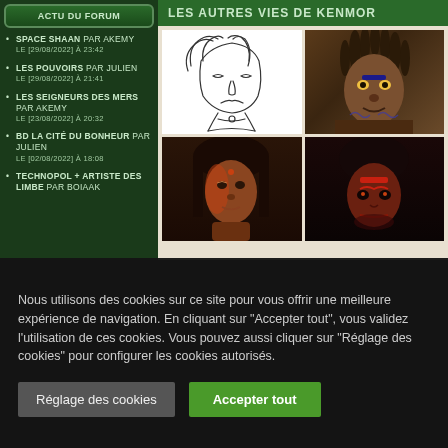ACTU DU FORUM
SPACE SHAAN PAR AKEMY LE [29/08/2022] À 23:42
LES POUVOIRS PAR JULIEN LE [29/08/2022] À 21:41
LES SEIGNEURS DES MERS PAR AKEMY LE [23/08/2022] À 20:32
BD LA CITÉ DU BONHEUR PAR JULIEN LE [02/08/2022] À 18:08
TECHNOPOL + ARTISTE DES LIMBE PAR BOIAAK
LES AUTRES VIES DE KENMOR
[Figure (illustration): Sketch/line art of a character with light hair]
[Figure (illustration): Digital painting of a tribal warrior with dreadlocks and face paint]
[Figure (illustration): Digital painting of a young woman with red lighting]
[Figure (illustration): Digital painting of a dark-skinned figure with red facial markings]
Nous utilisons des cookies sur ce site pour vous offrir une meilleure expérience de navigation. En cliquant sur "Accepter tout", vous validez l'utilisation de ces cookies. Vous pouvez aussi cliquer sur "Réglage des cookies" pour configurer les cookies autorisés.
Réglage des cookies
Accepter tout